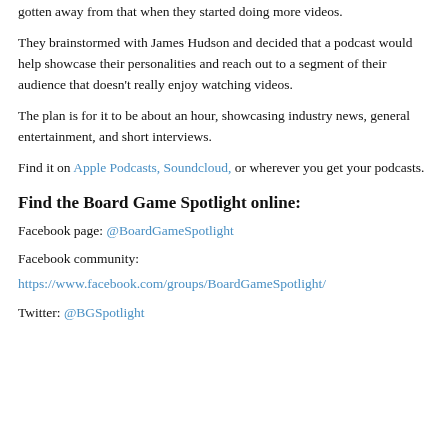gotten away from that when they started doing more videos.
They brainstormed with James Hudson and decided that a podcast would help showcase their personalities and reach out to a segment of their audience that doesn't really enjoy watching videos.
The plan is for it to be about an hour, showcasing industry news, general entertainment, and short interviews.
Find it on Apple Podcasts, Soundcloud, or wherever you get your podcasts.
Find the Board Game Spotlight online:
Facebook page: @BoardGameSpotlight
Facebook community:
https://www.facebook.com/groups/BoardGameSpotlight/
Twitter: @BGSpotlight